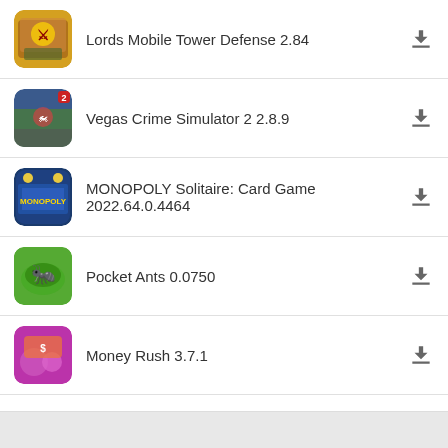Lords Mobile Tower Defense 2.84
Vegas Crime Simulator 2 2.8.9
MONOPOLY Solitaire: Card Game 2022.64.0.4464
Pocket Ants 0.0750
Money Rush 3.7.1
Home · Privacy Policy · Contact Us · DMCA